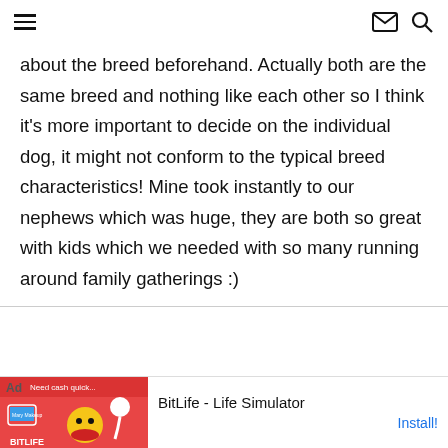about the breed beforehand. Actually both are the same breed and nothing like each other so I think it's more important to decide on the individual dog, it might not conform to the typical breed characteristics! Mine took instantly to our nephews which was huge, they are both so great with kids which we needed with so many running around family gatherings :)
[Figure (screenshot): Advertisement banner for BitLife - Life Simulator app with red background image and Install button]